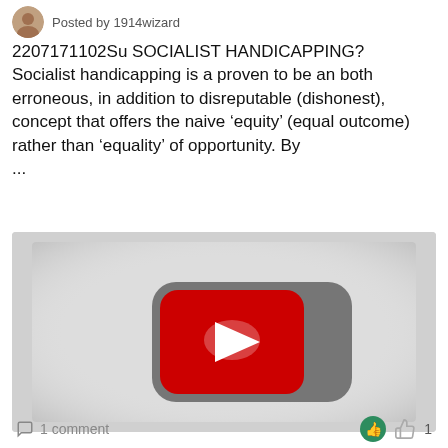Posted by 1914wizard
2207171102Su SOCIALIST HANDICAPPING? Socialist handicapping is a proven to be an both erroneous, in addition to disreputable (dishonest), concept that offers the naive ‘equity’ (equal outcome) rather than ‘equality’ of opportunity. By
...
[Figure (screenshot): YouTube video thumbnail placeholder with grey background and YouTube play button icon (red rounded rectangle with white triangle)]
1 comment                              👍 1